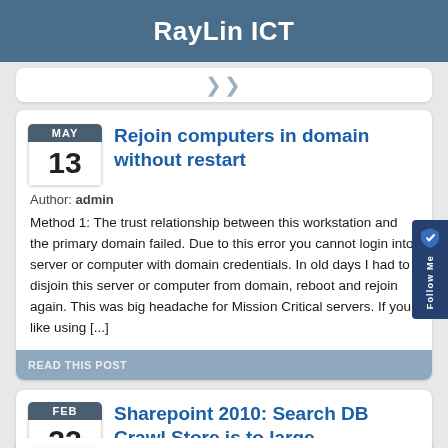RayLin ICT
Rejoin computers in domain without restart
Author: admin
Method 1: The trust relationship between this workstation and the primary domain failed. Due to this error you cannot login into server or computer with domain credentials. In old days I had to disjoin this server or computer from domain, reboot and rejoin again. This was big headache for Mission Critical servers. If you like using [...]
READ THIS POST
Sharepoint 2010: Search DB Crawl Store is to large
Author: admin
How to manage Office 2013 screens by GPO